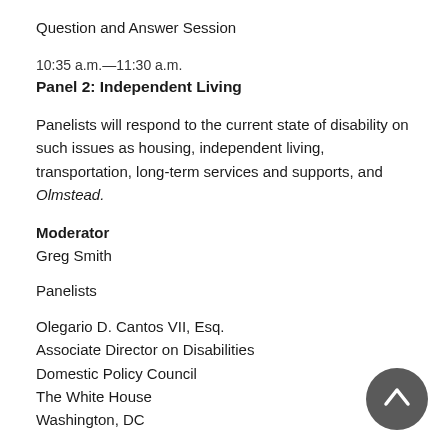Question and Answer Session
10:35 a.m.—11:30 a.m.
Panel 2: Independent Living
Panelists will respond to the current state of disability on such issues as housing, independent living, transportation, long-term services and supports, and Olmstead.
Moderator
Greg Smith
Panelists
Olegario D. Cantos VII, Esq.
Associate Director on Disabilities
Domestic Policy Council
The White House
Washington, DC